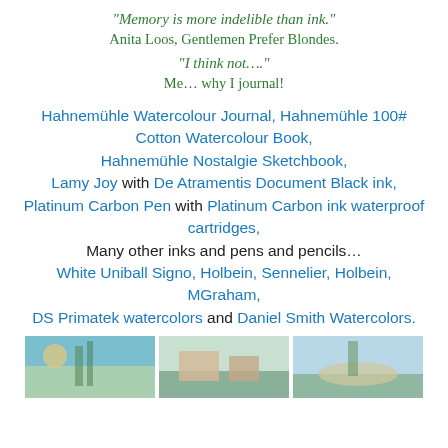“Memory is more indelible than ink.”
Anita Loos, Gentlemen Prefer Blondes.
“I think not….”
Me… why I journal!
Hahnemühle Watercolour Journal, Hahnemühle 100# Cotton Watercolour Book,
Hahnemühle Nostalgie Sketchbook,
Lamy Joy with De Atramentis Document Black ink,
Platinum Carbon Pen with Platinum Carbon ink waterproof cartridges,
Many other inks and pens and pencils…
White Uniball Signo, Holbein, Sennelier, Holbein, MGraham,
DS Primatek watercolors and Daniel Smith Watercolors.
[Figure (photo): Three photos at the bottom of the page showing journal/watercolor related images.]